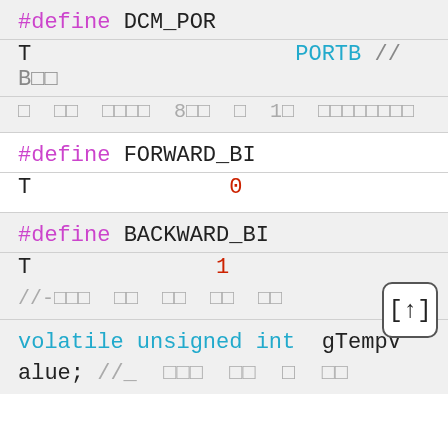#define DCM_POR
T                    PORTB // B□□
□  □□  □□□□  8□□  □  1□  □□□□□□□□
#define FORWARD_BI
T               0
#define BACKWARD_BI
T               1
//-□□□  □□  □□  □□  □□
volatile unsigned int  gTempV
alue; //_ □□□  □□  □  □□